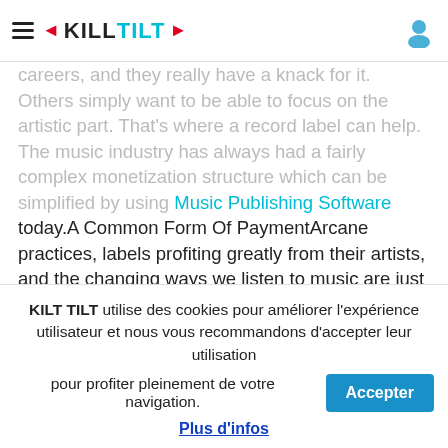KILL TILT
careers, and they really have a knack for it. Others simply want to be able to focus on the artistic part. That's where a record label can help. The music industry has always had a fairly complex monetization structure which can be simplified by using Music Publishing Software today.A Common Form Of PaymentArcane practices, labels profiting greatly from their artists, and the changing ways we listen to music are just a few ways in which the music streaming world cannot continue long-term in its current form. Digitalization, online distribution and the consumption of music reveal the difficulties with balancing copyright's intended aims with technological frameworks, new digital consumers and commercial usage and
KILT TILT utilise des cookies pour améliorer l'expérience utilisateur et nous vous recommandons d'accepter leur utilisation pour profiter pleinement de votre navigation.
Plus d'infos